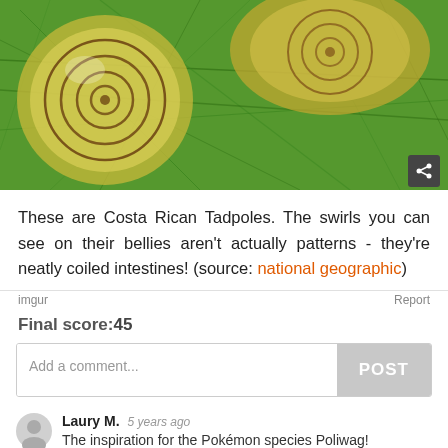[Figure (photo): Close-up photo of Costa Rican tadpoles on green moss/algae, showing spiral coiled intestines visible through translucent bellies]
These are Costa Rican Tadpoles. The swirls you can see on their bellies aren't actually patterns - they're neatly coiled intestines! (source: national geographic)
imgur   Report
Final score:45
Add a comment...   POST
Laury M.   5 years ago
The inspiration for the Pokémon species Poliwag!
↑ 21 ↓  Reply
View more comments...